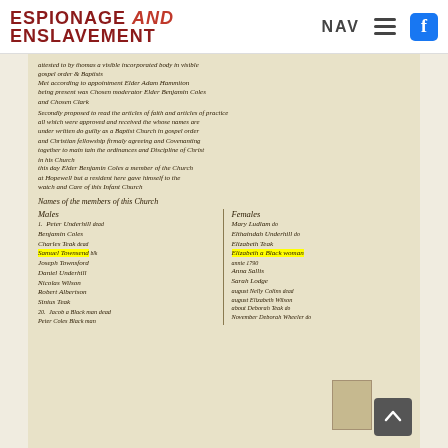ESPIONAGE AND ENSLAVEMENT
[Figure (photo): A scanned historical handwritten church membership record page with two columns listing male and female members. Two entries are highlighted in yellow: 'Samuel Townsend' on the left and 'Elizabeth a Black woman' on the right. The document is written in cursive script on aged yellowish paper.]